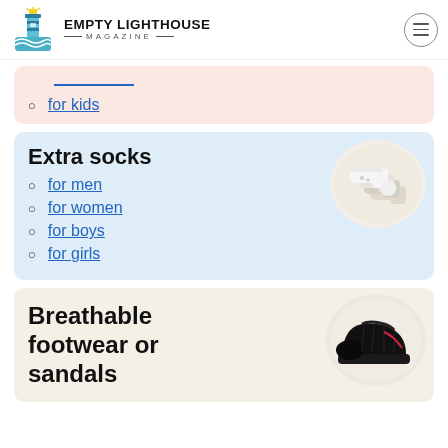Empty Lighthouse Magazine
for kids
Extra socks
for men
for women
for boys
for girls
Breathable footwear or sandals